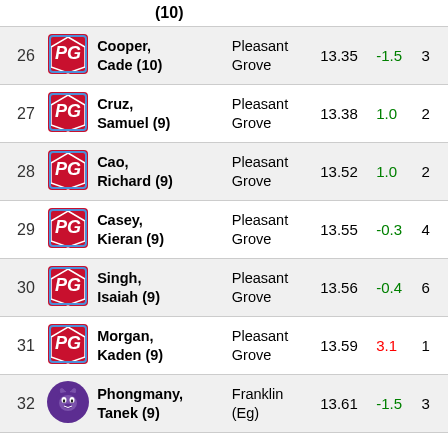| Rank | Logo | Name | School | Score | Diff | Pts |
| --- | --- | --- | --- | --- | --- | --- |
|  |  | (10) |  |  |  |  |
| 26 | PG | Cooper, Cade (10) | Pleasant Grove | 13.35 | -1.5 | 3 |
| 27 | PG | Cruz, Samuel (9) | Pleasant Grove | 13.38 | 1.0 | 2 |
| 28 | PG | Cao, Richard (9) | Pleasant Grove | 13.52 | 1.0 | 2 |
| 29 | PG | Casey, Kieran (9) | Pleasant Grove | 13.55 | -0.3 | 4 |
| 30 | PG | Singh, Isaiah (9) | Pleasant Grove | 13.56 | -0.4 | 6 |
| 31 | PG | Morgan, Kaden (9) | Pleasant Grove | 13.59 | 3.1 | 1 |
| 32 | Panther | Phongmany, Tanek (9) | Franklin (Eg) | 13.61 | -1.5 | 3 |